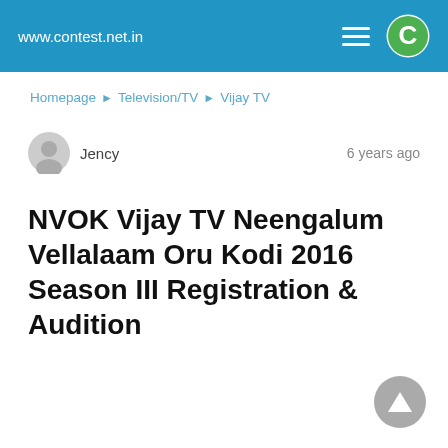www.contest.net.in
Homepage ▶ Television/TV ▶ Vijay TV
Jency   6 years ago
NVOK Vijay TV Neengalum Vellalaam Oru Kodi 2016 Season III Registration & Audition